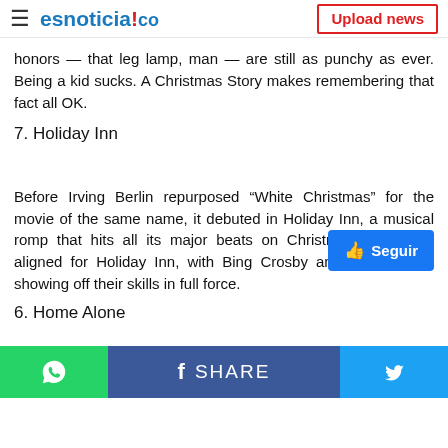esnoticia!co | Upload news
honors — that leg lamp, man — are still as punchy as ever. Being a kid sucks. A Christmas Story makes remembering that fact all OK.
7. Holiday Inn
Before Irving Berlin repurposed “White Christmas” for the movie of the same name, it debuted in Holiday Inn, a musical romp that hits all its major beats on Christmas. The stars aligned for Holiday Inn, with Bing Crosby and Fred Astaire showing off their skills in full force.
6. Home Alone
[Figure (other): Seguir (Follow) button in blue]
WhatsApp | f SHARE | Twitter